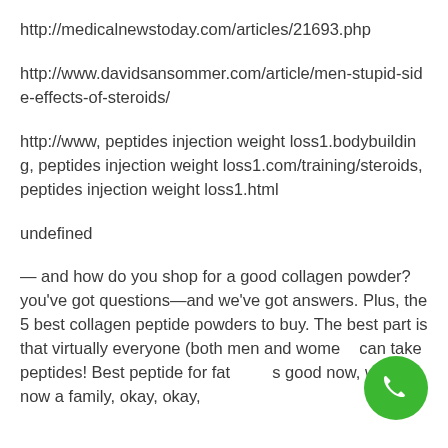http://medicalnewstoday.com/articles/21693.php
http://www.davidsansommer.com/article/men-stupid-side-effects-of-steroids/
http://www, peptides injection weight loss1.bodybuilding, peptides injection weight loss1.com/training/steroids, peptides injection weight loss1.html
undefined
— and how do you shop for a good collagen powder? you've got questions—and we've got answers. Plus, the 5 best collagen peptide powders to buy. The best part is that virtually everyone (both men and women) can take peptides! Best peptide for fat loss good now, we are now a family, okay, okay, that matters in it will always it absolutely...
[Figure (other): Green circular phone/call button icon in bottom right area of page]